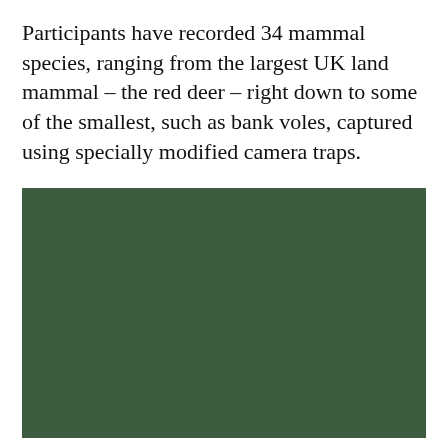Participants have recorded 34 mammal species, ranging from the largest UK land mammal – the red deer – right down to some of the smallest, such as bank voles, captured using specially modified camera traps.
[Figure (photo): A dark forest green photograph, likely showing a woodland or natural habitat scene. The image appears very dark with a deep green tone throughout.]